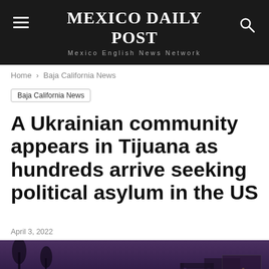MEXICO DAILY POST
Mexico English News Network
Home › Baja California News
Baja California News
A Ukrainian community appears in Tijuana as hundreds arrive seeking political asylum in the US
April 3, 2022
[Figure (photo): People in an urban street scene at dusk/night in Tijuana, with city lights and billboards visible in the background against a purple-tinted sky.]